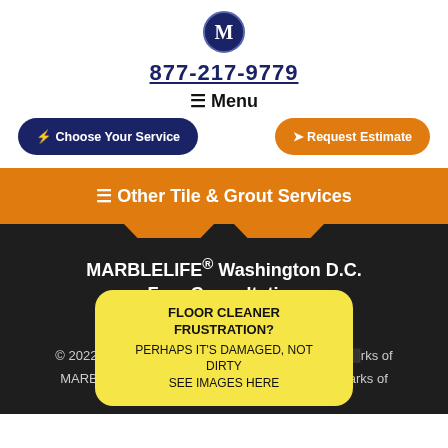[Figure (logo): MARBLELIFE logo: circular badge with letter M in white on navy background]
877-217-9779
≡ Menu
⚡ Choose Your Service
➤ Request Estimate
≡ Other Tile & Grout Services
MARBLELIFE® Washington D.C.
Free Consultation
877-217-9779
© 2022 MARBLELIFE®, Interlok®, and InterC...arks of MARBL...eLok™, CleanShield™ are trademarks of
[Figure (infographic): Yellow popup overlay reading: FLOOR CLEANER FRUSTRATION? PERHAPS IT'S DAMAGED, NOT DIRTY SEE IMAGES HERE]